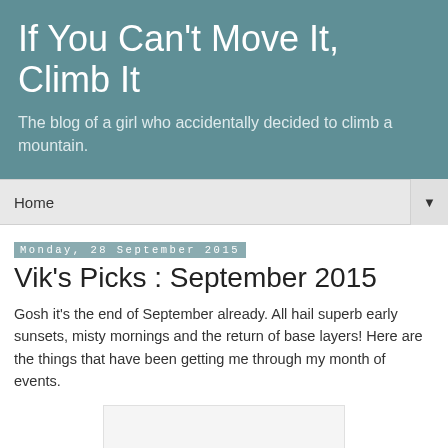If You Can't Move It, Climb It
The blog of a girl who accidentally decided to climb a mountain.
Home
Monday, 28 September 2015
Vik's Picks : September 2015
Gosh it's the end of September already. All hail superb early sunsets, misty mornings and the return of base layers! Here are the things that have been getting me through my month of events.
[Figure (photo): Partially visible image placeholder at bottom of page]